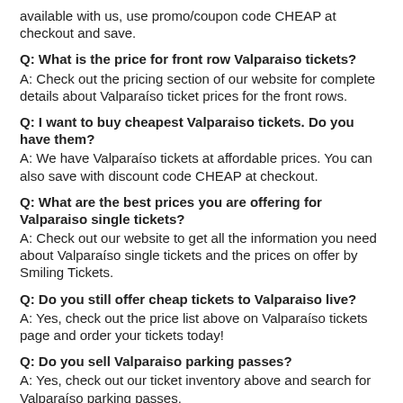available with us, use promo/coupon code CHEAP at checkout and save.
Q: What is the price for front row Valparaiso tickets?
A: Check out the pricing section of our website for complete details about Valparaiso ticket prices for the front rows.
Q: I want to buy cheapest Valparaiso tickets. Do you have them?
A: We have Valparaiso tickets at affordable prices. You can also save with discount code CHEAP at checkout.
Q: What are the best prices you are offering for Valparaiso single tickets?
A: Check out our website to get all the information you need about Valparaiso single tickets and the prices on offer by Smiling Tickets.
Q: Do you still offer cheap tickets to Valparaiso live?
A: Yes, check out the price list above on Valparaiso tickets page and order your tickets today!
Q: Do you sell Valparaiso parking passes?
A: Yes, check out our ticket inventory above and search for Valparaiso parking passes.